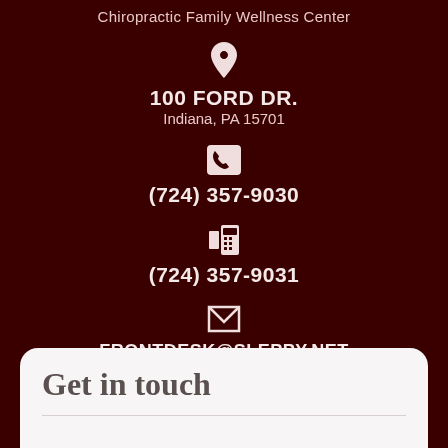Chiropractic Family Wellness Center
100 FORD DR.
Indiana, PA 15701
(724) 357-9030
(724) 357-9031
FRONTDESK@SLEPPY.NET
Get in touch